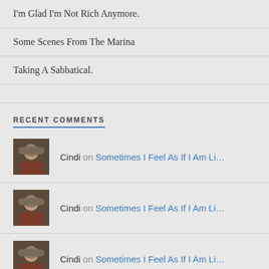I'm Glad I'm Not Rich Anymore.
Some Scenes From The Marina
Taking A Sabbatical.
RECENT COMMENTS
Cindi on Sometimes I Feel As If I Am Li...
Cindi on Sometimes I Feel As If I Am Li...
Cindi on Sometimes I Feel As If I Am Li...